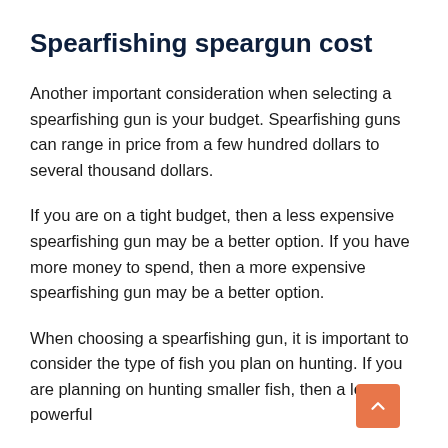Spearfishing speargun cost
Another important consideration when selecting a spearfishing gun is your budget. Spearfishing guns can range in price from a few hundred dollars to several thousand dollars.
If you are on a tight budget, then a less expensive spearfishing gun may be a better option. If you have more money to spend, then a more expensive spearfishing gun may be a better option.
When choosing a spearfishing gun, it is important to consider the type of fish you plan on hunting. If you are planning on hunting smaller fish, then a less powerful